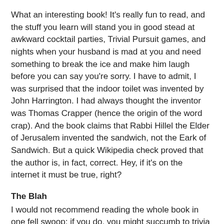What an interesting book! It's really fun to read, and the stuff you learn will stand you in good stead at awkward cocktail parties, Trivial Pursuit games, and nights when your husband is mad at you and need something to break the ice and make him laugh before you can say you're sorry. I have to admit, I was surprised that the indoor toilet was invented by John Harrington. I had always thought the inventor was Thomas Crapper (hence the origin of the word crap). And the book claims that Rabbi Hillel the Elder of Jerusalem invented the sandwich, not the Eark of Sandwich. But a quick Wikipedia check proved that the author is, in fact, correct. Hey, if it's on the internet it must be true, right?
The Blah
I would not recommend reading the whole book in one fell swoop; if you do, you might succumb to trivia overload. This book is like a box of truffles -- they need to be savored in little bits and bites, and if you gorge on the whole box you'll end up with a stomachache. So just skim through the book here and there, latch onto some titles that interests you and read.